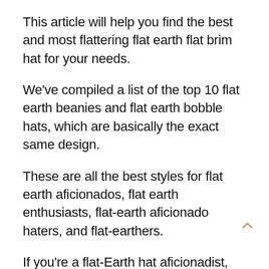This article will help you find the best and most flattering flat earth flat brim hat for your needs.
We've compiled a list of the top 10 flat earth beanies and flat earth bobble hats, which are basically the exact same design.
These are all the best styles for flat earth aficionados, flat earth enthusiasts, flat-earth aficionado haters, and flat-earthers.
If you're a flat-Earth hat aficionadist, you should be aware that many hat designe use different types and designs of flat-